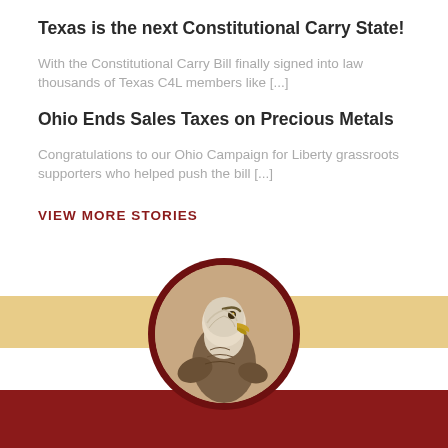Texas is the next Constitutional Carry State!
With the Constitutional Carry Bill finally signed into law thousands of Texas C4L members like [...]
Ohio Ends Sales Taxes on Precious Metals
Congratulations to our Ohio Campaign for Liberty grassroots supporters who helped push the bill [...]
VIEW MORE STORIES
[Figure (illustration): Circular emblem with a bald eagle portrait in sepia tones, set against a dark red/maroon border, positioned over a gold and dark red banded footer.]